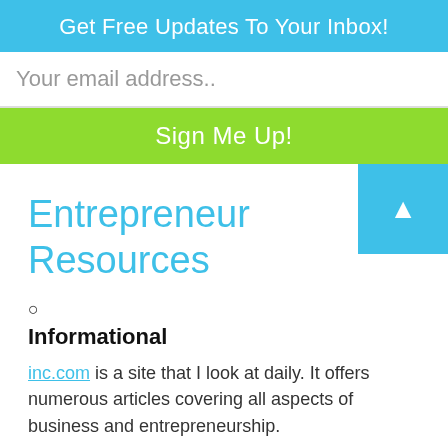Get Free Updates To Your Inbox!
Your email address..
Sign Me Up!
Entrepreneur Resources
○
Informational
inc.com is a site that I look at daily. It offers numerous articles covering all aspects of business and entrepreneurship.
mashable.com is another site I look at daily. This